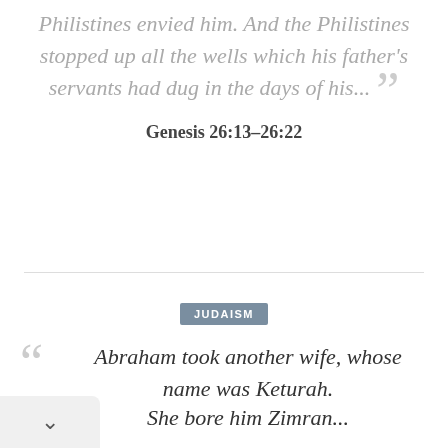Philistines envied him. And the Philistines stopped up all the wells which his father's servants had dug in the days of his...
Genesis 26:13-26:22
JUDAISM
Abraham took another wife, whose name was Keturah. She bore him Zimran...